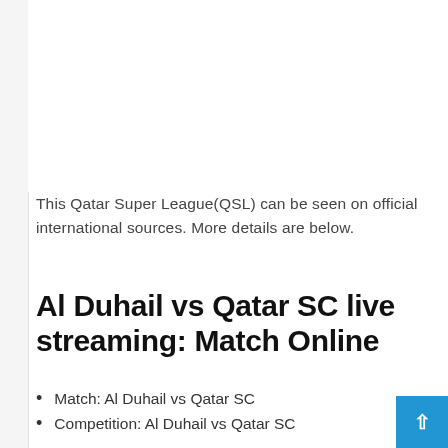This Qatar Super League(QSL) can be seen on official international sources. More details are below.
Al Duhail vs Qatar SC live streaming: Match Online
Match: Al Duhail vs Qatar SC
Competition: Al Duhail vs Qatar SC
Date: October 17, 2020
Kick-off time: 5:30 pm.
Stadium: Qatar Arena